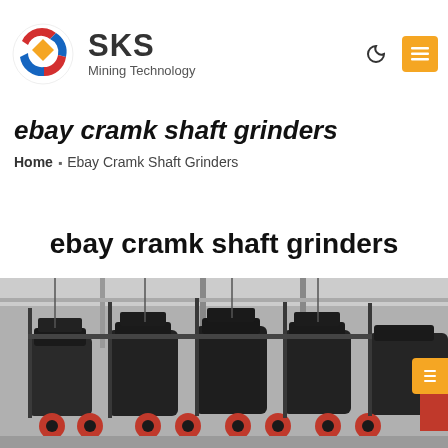SKS Mining Technology
ebay cramk shaft grinders
Home » Ebay Cramk Shaft Grinders
ebay cramk shaft grinders
[Figure (photo): Industrial mining machinery – multiple large black cone crusher units lined up on a factory floor with red wheels, metal frames and gantry cranes in background]